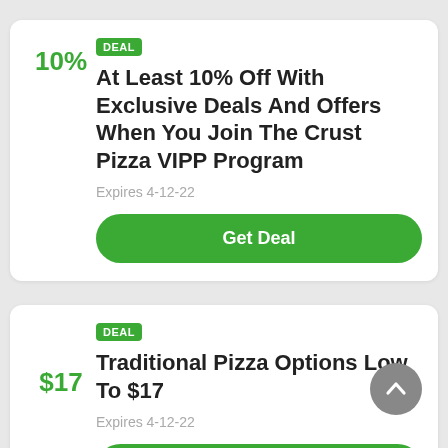DEAL
At Least 10% Off With Exclusive Deals And Offers When You Join The Crust Pizza VIPP Program
10%
Expires 4-12-22
Get Deal
DEAL
Traditional Pizza Options Low To $17
$17
Expires 4-12-22
Get Deal